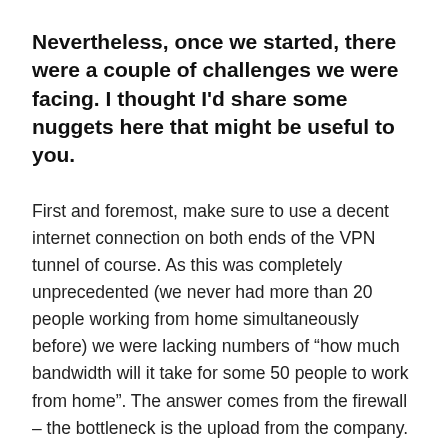Nevertheless, once we started, there were a couple of challenges we were facing. I thought I'd share some nuggets here that might be useful to you.
First and foremost, make sure to use a decent internet connection on both ends of the VPN tunnel of course. As this was completely unprecedented (we never had more than 20 people working from home simultaneously before) we were lacking numbers of “how much bandwidth will it take for some 50 people to work from home”. The answer comes from the firewall – the bottleneck is the upload from the company. 15 MBits upload are just enough for 50 people to work with, a tad more wouldn’t hurt.